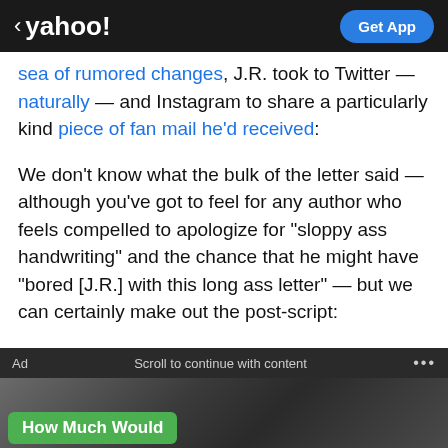< yahoo! | Get App
sea of rumored changes, J.R. took to Twitter — naturally — and Instagram to share a particularly kind piece of fan mail he'd received:
We don't know what the bulk of the letter said — although you've got to feel for any author who feels compelled to apologize for "sloppy ass handwriting" and the chance that he might have "bored [J.R.] with this long ass letter" — but we can certainly make out the post-script:
[Figure (screenshot): Ad bar with text 'Ad', 'Scroll to continue with content', and '...' dots, followed by a dark image with a 'How Much Would' green button overlay]